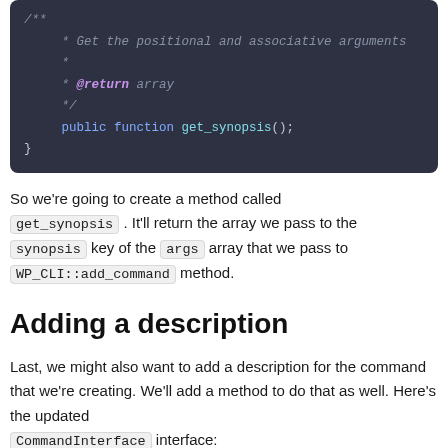[Figure (screenshot): Dark-themed code block showing PHP docblock comment with @return array annotation and public function get_synopsis(); declaration inside a class brace]
So we're going to create a method called get_synopsis. It'll return the array we pass to the synopsis key of the args array that we pass to WP_CLI::add_command method.
Adding a description
Last, we might also want to add a description for the command that we're creating. We'll add a method to do that as well. Here's the updated CommandInterface interface: